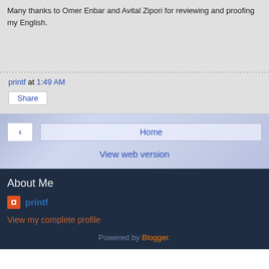Many thanks to Omer Enbar and Avital Zipori for reviewing and proofing my English.
printf at 1:49 AM
Share
< Home View web version
About Me
printf
View my complete profile
Powered by Blogger.